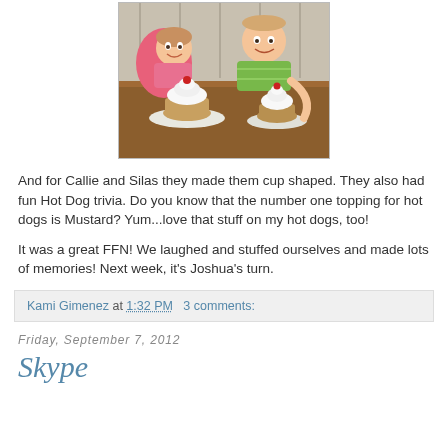[Figure (photo): Two young children (a girl in pink and a boy in green striped shirt) smiling at camera, with desserts in waffle bowls topped with whipped cream and cherries on plates in front of them, at a wooden table.]
And for Callie and Silas they made them cup shaped.  They also had fun Hot Dog trivia.  Do you know that the number one topping for hot dogs is Mustard?  Yum...love that stuff on my hot dogs, too!
It was a great FFN!  We laughed and stuffed ourselves and made lots of memories!  Next week, it's Joshua's turn.
Kami Gimenez at 1:32 PM   3 comments:
Friday, September 7, 2012
Skype